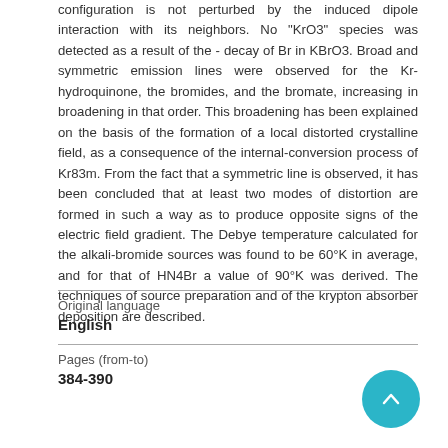configuration is not perturbed by the induced dipole interaction with its neighbors. No "KrO3" species was detected as a result of the - decay of Br in KBrO3. Broad and symmetric emission lines were observed for the Kr-hydroquinone, the bromides, and the bromate, increasing in broadening in that order. This broadening has been explained on the basis of the formation of a local distorted crystalline field, as a consequence of the internal-conversion process of Kr83m. From the fact that a symmetric line is observed, it has been concluded that at least two modes of distortion are formed in such a way as to produce opposite signs of the electric field gradient. The Debye temperature calculated for the alkali-bromide sources was found to be 60°K in average, and for that of HN4Br a value of 90°K was derived. The techniques of source preparation and of the krypton absorber deposition are described.
| Original language |  |
| --- | --- |
| English |  |
| Pages (from-to) |  |
| 384-390 |  |